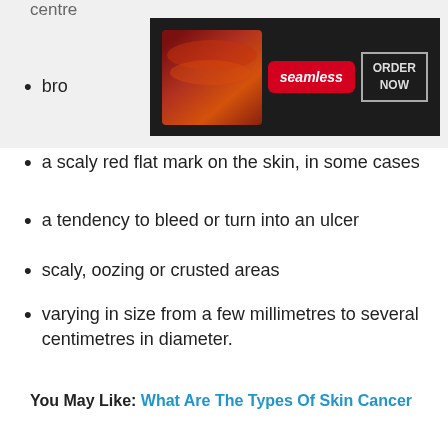centre
[Figure (other): Seamless pizza food delivery advertisement banner with red background showing pizza images and 'ORDER NOW' button]
bro[wn/wnish patch with an irregular border, sometimes with a pale]
a scaly red flat mark on the skin, in some cases
a tendency to bleed or turn into an ulcer
scaly, oozing or crusted areas
varying in size from a few millimetres to several centimetres in diameter.
You May Like:  What Are The Types Of Skin Cancer
Dna Mismatch Repair Proteins
DNA mismatch repair proteins are a group of proteins that physiologically regulate DNA replication integrity and apoptosis DNA
[Figure (other): MAC cosmetics advertisement banner showing lipsticks and 'SHOP NOW' button with CLOSE button]